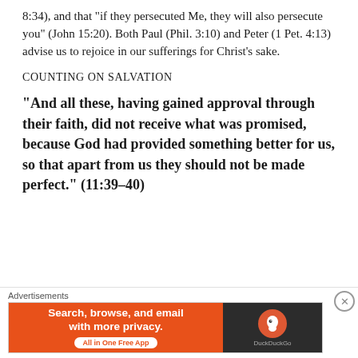8:34), and that “if they persecuted Me, they will also persecute you” (John 15:20). Both Paul (Phil. 3:10) and Peter (1 Pet. 4:13) advise us to rejoice in our sufferings for Christ’s sake.
COUNTING ON SALVATION
“And all these, having gained approval through their faith, did not receive what was promised, because God had provided something better for us, so that apart from us they should not be made perfect.” (11:39–40)
Advertisements
[Figure (screenshot): DuckDuckGo advertisement banner: orange left panel with text 'Search, browse, and email with more privacy. All in One Free App' and dark right panel with DuckDuckGo duck logo]